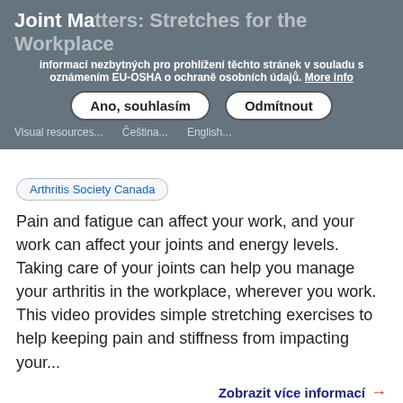Joint Matters: Stretches for the Workplace
informací nezbytných pro prohlížení těchto stránek v souladu s oznámením EU-OSHA o ochraně osobních údajů. More info
Ano, souhlasím | Odmítnout
Visual resources   Čeština   English
Arthritis Society Canada
Pain and fatigue can affect your work, and your work can affect your joints and energy levels. Taking care of your joints can help you manage your arthritis in the workplace, wherever you work. This video provides simple stretching exercises to help keeping pain and stiffness from impacting your...
Zobrazit více informací →
Arthritis: Homeoffice Ergonomics: Tips for Arranging a Healthy Work